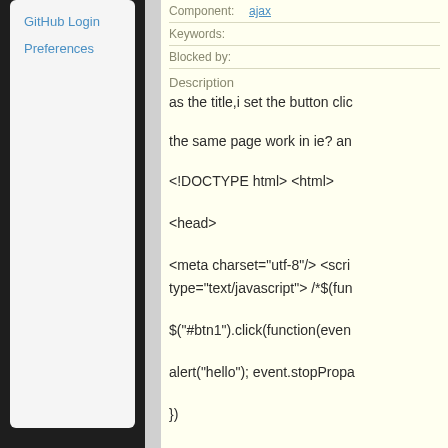GitHub Login
Preferences
Component: ajax
Keywords:
Blocked by:
Description
as the title,i set the button clic
the same page work in ie? an
<!DOCTYPE html> <html>
<head>
<meta charset="utf-8"/> <scri type="text/javascript"> /*$(fun
$("#btn1").click(function(even
alert("hello"); event.stopPropa
})
})*/ jQuery(function() {
$("#btn").click(function() {